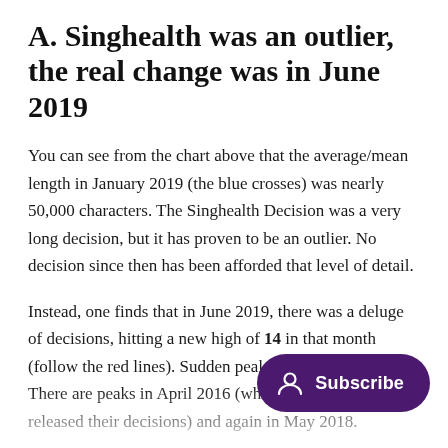A. Singhealth was an outlier, the real change was in June 2019
You can see from the chart above that the average/mean length in January 2019 (the blue crosses) was nearly 50,000 characters. The Singhealth Decision was a very long decision, but it has proven to be an outlier. No decision since then has been afforded that level of detail.
Instead, one finds that in June 2019, there was a deluge of decisions, hitting a new high of 14 in that month (follow the red lines). Sudden peaks aren't exactly rare. There are peaks in April 2016 (when the PDPC first released their decisions) and again in May 2018.
What did change since 2019 is that we monthly schedule of decisions Prior to this, the schedule was punctuated with months without any